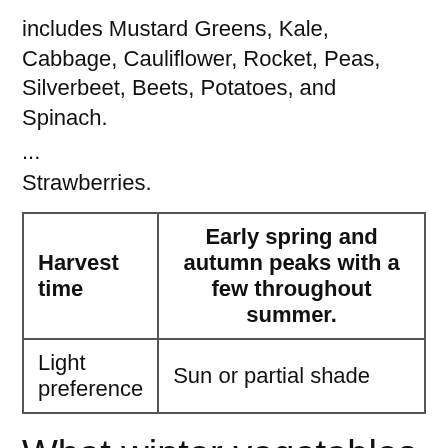includes Mustard Greens, Kale, Cabbage, Cauliflower, Rocket, Peas, Silverbeet, Beets, Potatoes, and Spinach.
...
Strawberries.
| Harvest time | Early spring and autumn peaks with a few throughout summer. |
| --- | --- |
| Light preference | Sun or partial shade |
What winter vegetables can I plant?
For Winter growing herbs, plant chives, dill,